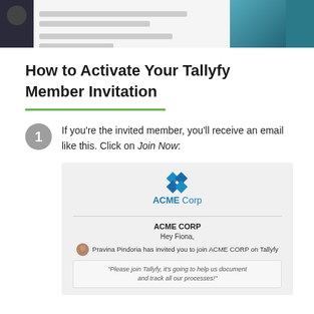[Figure (screenshot): Screenshot of a Tallyfy application interface showing a dark sidebar and content area with notification items]
How to Activate Your Tallyfy Member Invitation
1 If you're the invited member, you'll receive an email like this. Click on Join Now:
[Figure (screenshot): Email preview from ACME Corp showing an invitation email. Text reads: ACME CORP, Hey Fiona, Pravina Pindoria has invited you to join ACME CORP on Tallyfy. Quote box: "Please join Tallyfy, it's going to help us document and track all our processes!"]